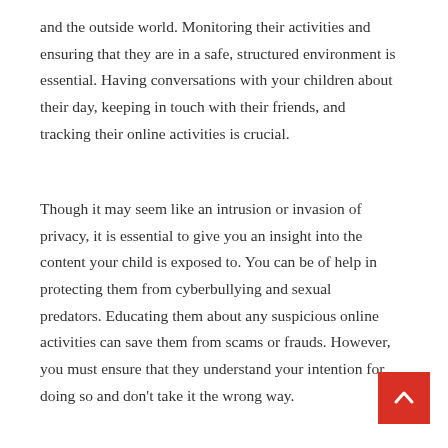and the outside world. Monitoring their activities and ensuring that they are in a safe, structured environment is essential. Having conversations with your children about their day, keeping in touch with their friends, and tracking their online activities is crucial.
Though it may seem like an intrusion or invasion of privacy, it is essential to give you an insight into the content your child is exposed to. You can be of help in protecting them from cyberbullying and sexual predators. Educating them about any suspicious online activities can save them from scams or frauds. However, you must ensure that they understand your intention for doing so and don't take it the wrong way.